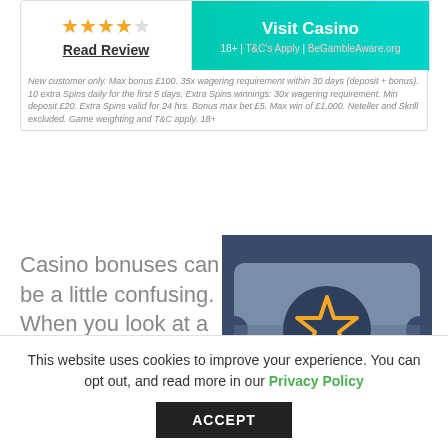[Figure (other): Star rating: 4 out of 5 stars in orange]
Read Review
Visit Casino
18+ | T&C's Apply | BeGambleAware.org
New customer only. Max bonus £100. 35x wagering requirement within 30 days (deposit + bonus). 10 extra Spins daily for the first 5 days. Extra Spins winnings: 30x wagering requirement. Min deposit £20. Extra Spins valid for 24 hrs. Bonus max bet £5. Max win of £1,000. Neteller and Skrill excluded. Game weighting and T&C apply. 18+
Casino bonuses can be a little confusing. When you look at a casino's promo page, you'll see lots of
[Figure (illustration): Illustration of a casino bonus ticket/voucher with a star icon in the center on a dark blue and grey background]
This website uses cookies to improve your experience. You can opt out, and read more in our Privacy Policy
ACCEPT